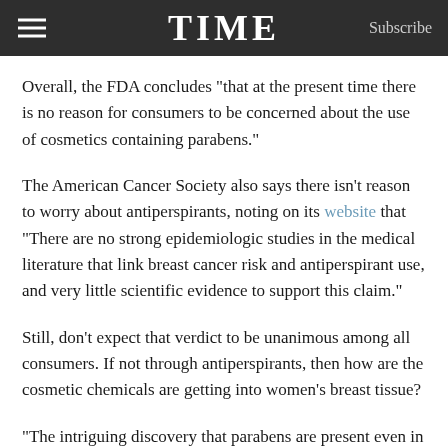TIME
Overall, the FDA concludes “that at the present time there is no reason for consumers to be concerned about the use of cosmetics containing parabens.”
The American Cancer Society also says there isn’t reason to worry about antiperspirants, noting on its website that “There are no strong epidemiologic studies in the medical literature that link breast cancer risk and antiperspirant use, and very little scientific evidence to support this claim.”
Still, don’t expect that verdict to be unanimous among all consumers. If not through antiperspirants, then how are the cosmetic chemicals are getting into women’s breast tissue?
“The intriguing discovery that parabens are present even in women who have never used underarm products raises the question: where